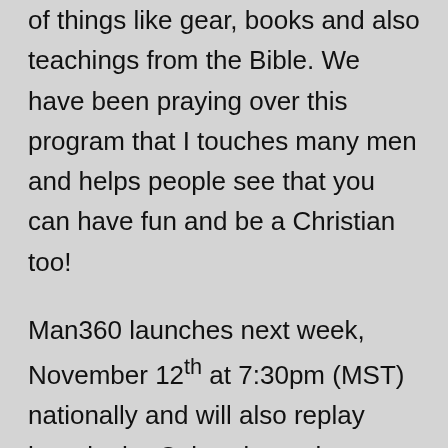of things like gear, books and also teachings from the Bible. We have been praying over this program that I touches many men and helps people see that you can have fun and be a Christian too!
Man360 launches next week, November 12th at 7:30pm (MST) nationally and will also replay here in the Colorado market on Saturdays at Noon. You can also go now to Man360.tv for more information about where to view the program.
We appreciate all the love and support for the program and believe that God will use it to touch